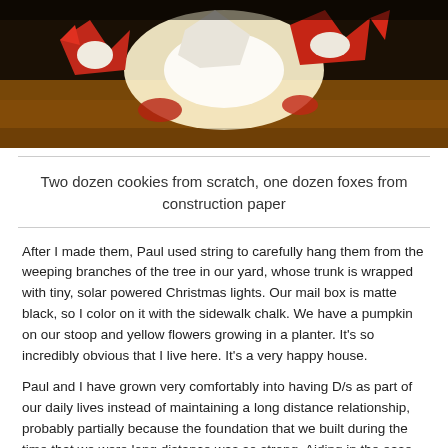[Figure (photo): A photograph showing red and white paper fox cutouts arranged on a light-colored wooden surface, with bright light in the background.]
Two dozen cookies from scratch, one dozen foxes from construction paper
After I made them, Paul used string to carefully hang them from the weeping branches of the tree in our yard, whose trunk is wrapped with tiny, solar powered Christmas lights. Our mail box is matte black, so I color on it with the sidewalk chalk. We have a pumpkin on our stoop and yellow flowers growing in a planter. It's so incredibly obvious that I live here. It's a very happy house.
Paul and I have grown very comfortably into having D/s as part of our daily lives instead of maintaining a long distance relationship, probably partially because the foundation that we built during the time that we were long distance was so strong. Aiding in the ease of this transition is the fact that we both have a very strong and well defined idea of what we want from one such relationship and that those ideas are very much in line (see also, our compatibility). I'm sure that being seriously